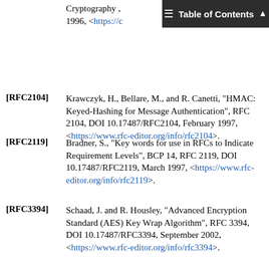Cryptography, 1996, <https://c...
[RFC2104] Krawczyk, H., Bellare, M., and R. Canetti, "HMAC: Keyed-Hashing for Message Authentication", RFC 2104, DOI 10.17487/RFC2104, February 1997, <https://www.rfc-editor.org/info/rfc2104>.
[RFC2119] Bradner, S., "Key words for use in RFCs to Indicate Requirement Levels", BCP 14, RFC 2119, DOI 10.17487/RFC2119, March 1997, <https://www.rfc-editor.org/info/rfc2119>.
[RFC3394] Schaad, J. and R. Housley, "Advanced Encryption Standard (AES) Key Wrap Algorithm", RFC 3394, DOI 10.17487/RFC3394, September 2002, <https://www.rfc-editor.org/info/rfc3394>.
[RFC3610] Whiting, D., Housley, R., and N. Ferguson, "Counter with CBC-MAC (CCM)", RFC 3610, DOI 10.17487/RFC3610, September 2003,